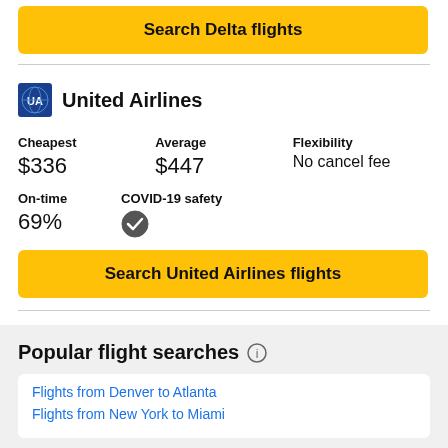Search Delta flights
United Airlines
| Cheapest | Average | Flexibility |
| --- | --- | --- |
| $336 | $447 | No cancel fee |
| On-time | COVID-19 safety |
| --- | --- |
| 69% | ✓ |
Search United Airlines flights
Popular flight searches
Flights from Denver to Atlanta
Flights from New York to Miami